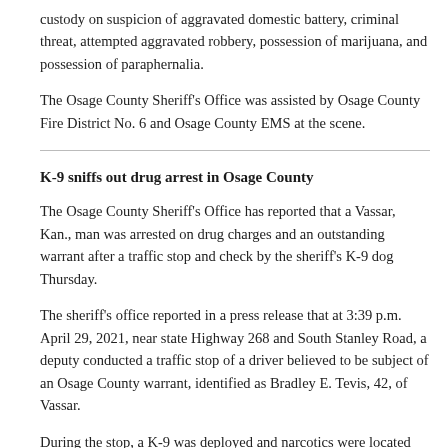custody on suspicion of aggravated domestic battery, criminal threat, attempted aggravated robbery, possession of marijuana, and possession of paraphernalia.
The Osage County Sheriff's Office was assisted by Osage County Fire District No. 6 and Osage County EMS at the scene.
K-9 sniffs out drug arrest in Osage County
The Osage County Sheriff's Office has reported that a Vassar, Kan., man was arrested on drug charges and an outstanding warrant after a traffic stop and check by the sheriff's K-9 dog Thursday.
The sheriff's office reported in a press release that at 3:39 p.m. April 29, 2021, near state Highway 268 and South Stanley Road, a deputy conducted a traffic stop of a driver believed to be subject of an Osage County warrant, identified as Bradley E. Tevis, 42, of Vassar.
During the stop, a K-9 was deployed and narcotics were located within the vehicle. Tevis was arrested on suspicion of possession of methamphetamine, possession of marijuana, possession of drug paraphernalia, interference with a law enforcement officer, transporting an open container of alcohol or liquor, driving while suspended, and an Osage County warrant.